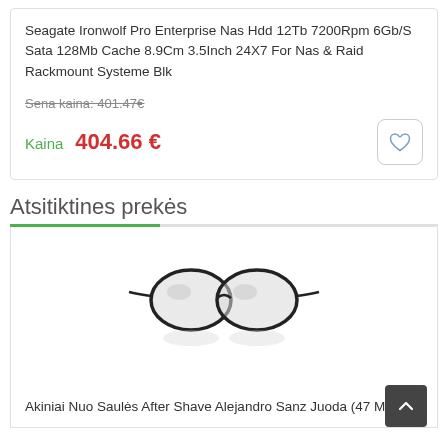Seagate Ironwolf Pro Enterprise Nas Hdd 12Tb 7200Rpm 6Gb/S Sata 128Mb Cache 8.9Cm 3.5Inch 24X7 For Nas & Raid Rackmount Systeme Blk
Sena kaina: 401.47€
Kaina 404.66 €
Atsitiktines prekės
[Figure (photo): Round metal frame sunglasses, black frame with light grey lenses, shown from the front with a slight reflection below]
Akiniai Nuo Saulės After Shave Alejandro Sanz Juoda (47 Mm)